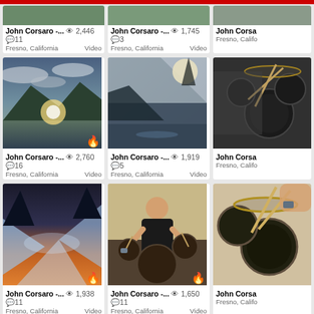[Figure (screenshot): Social media video grid showing John Corsaro video thumbnails with view counts and comment counts. Row 1 partial: John Corsaro 2446 views 11 comments, John Corsaro 1745 views 3 comments, John Corsaro partial. Row 2: John Corsaro 2760 views 16 comments (landscape/lake thumbnail), John Corsaro 1919 views 5 comments (sky/water composite), John Corsaro partial (drums). Row 3: John Corsaro 1938 views 11 comments (sunset waterfall), John Corsaro 1650 views 11 comments (man playing drums), John Corsaro partial (drums). Row 4 partial: three more thumbnails.]